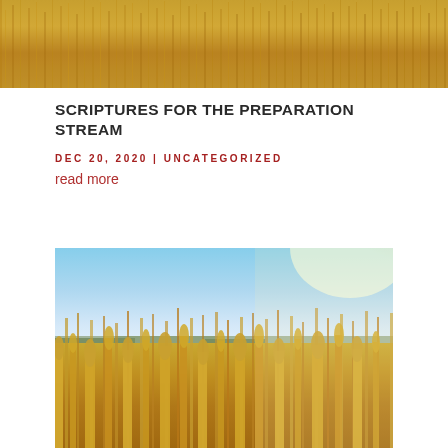[Figure (photo): Close-up photo of golden wheat field crops with warm amber tones, top banner image]
SCRIPTURES FOR THE PREPARATION STREAM
DEC 20, 2020 | UNCATEGORIZED
read more
[Figure (photo): Photo of a golden wheat field under a bright sunny sky with blue sky in the background and sunlight flare on the right side]